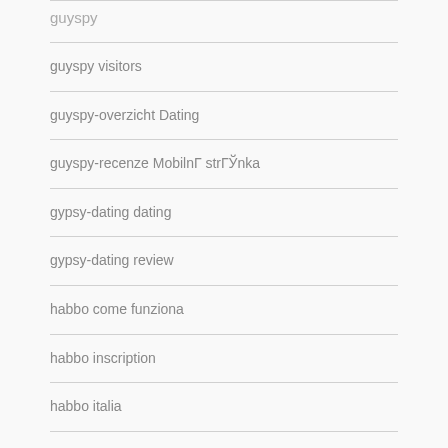guyspy visitors
guyspy-overzicht Dating
guyspy-recenze MobilnГ strГЎnka
gypsy-dating dating
gypsy-dating review
habbo come funziona
habbo inscription
habbo italia